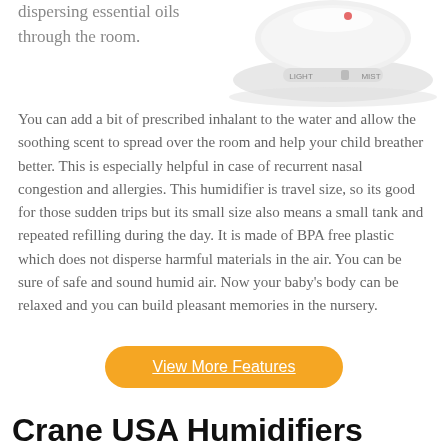dispersing essential oils through the room.
[Figure (photo): White humidifier device with LIGHT and MIST controls visible on top]
You can add a bit of prescribed inhalant to the water and allow the soothing scent to spread over the room and help your child breather better. This is especially helpful in case of recurrent nasal congestion and allergies. This humidifier is travel size, so its good for those sudden trips but its small size also means a small tank and repeated refilling during the day. It is made of BPA free plastic which does not disperse harmful materials in the air. You can be sure of safe and sound humid air. Now your baby’s body can be relaxed and you can build pleasant memories in the nursery.
View More Features
Crane USA Humidifiers